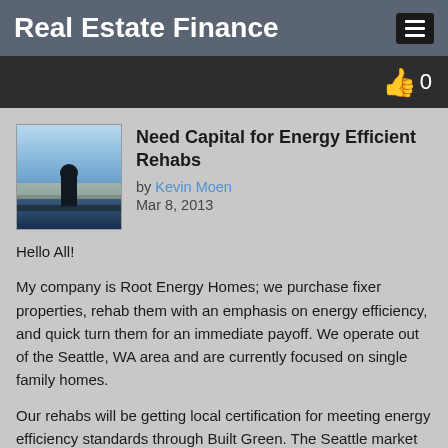Real Estate Finance
Need Capital for Energy Efficient Rehabs
by Kevin Moen
Mar 8, 2013
Hello All!
My company is Root Energy Homes; we purchase fixer properties, rehab them with an emphasis on energy efficiency, and quick turn them for an immediate payoff. We operate out of the Seattle, WA area and are currently focused on single family homes.
Our rehabs will be getting local certification for meeting energy efficiency standards through Built Green. The Seattle market has proven to pay an 8% - 12% premium on Build Green certified homes, which is greater than my marginal increase in cost to